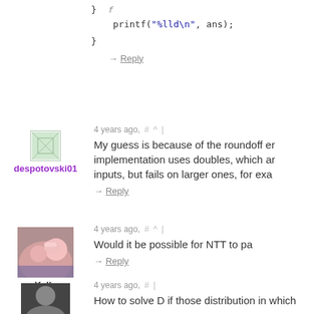printf("%lld\n", ans);
}
→ Reply
4 years ago,  #  ^  |
My guess is because of the roundoff er... implementation uses doubles, which ar... inputs, but fails on larger ones, for exa...
→ Reply
4 years ago,  #  ^  |
Would it be possible for NTT to pa...
→ Reply
4 years ago,  #  |
How to solve D if those distribution in which...